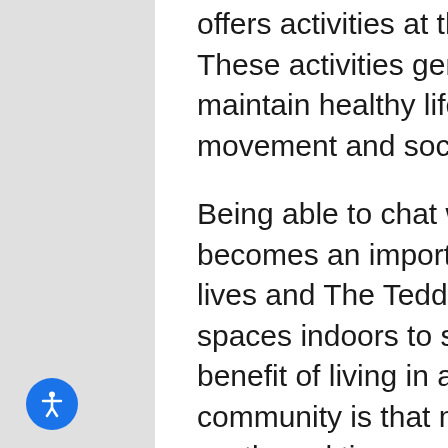offers activities at their location for residents. These activities generally allow residents to maintain healthy lifestyles by encouraging movement and socializing with their peers.
Being able to chat with other residents becomes an important part of many peoples' lives and The Teddington offers common spaces indoors to support that need. The benefit of living in an assisted living community is that making meals can be costly and time consuming process so The Teddington provides meals for residents.
Staff is awake and available 24 hours a day so if any emergencies occur no matter the time, there will be someone